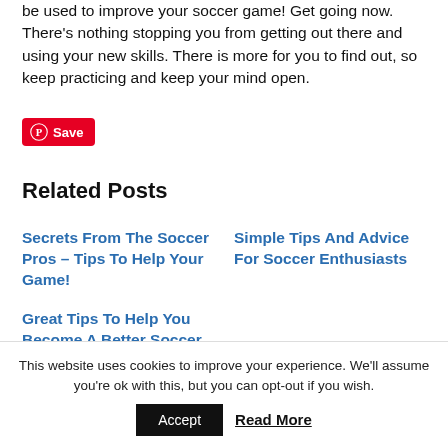be used to improve your soccer game! Get going now. There's nothing stopping you from getting out there and using your new skills. There is more for you to find out, so keep practicing and keep your mind open.
[Figure (other): Pinterest Save button with red background and white Pinterest logo icon]
Related Posts
Secrets From The Soccer Pros – Tips To Help Your Game!
Simple Tips And Advice For Soccer Enthusiasts
Great Tips To Help You Become A Better Soccer
This website uses cookies to improve your experience. We'll assume you're ok with this, but you can opt-out if you wish.
Accept   Read More